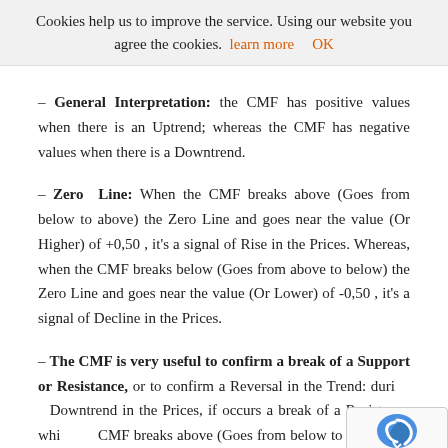Cookies help us to improve the service. Using our website you agree the cookies. learn more   OK
– General Interpretation: the CMF has positive values when there is an Uptrend; whereas the CMF has negative values when there is a Downtrend.
– Zero Line: When the CMF breaks above (Goes from below to above) the Zero Line and goes near the value (Or Higher) of +0,50 , it's a signal of Rise in the Prices. Whereas, when the CMF breaks below (Goes from above to below) the Zero Line and goes near the value (Or Lower) of -0,50 , it's a signal of Decline in the Prices.
– The CMF is very useful to confirm a break of a Support or Resistance, or to confirm a Reversal in the Trend: during a Downtrend in the Prices, if occurs a break of a Resistance while the CMF breaks above (Goes from below to above) the Zero Line, It's a